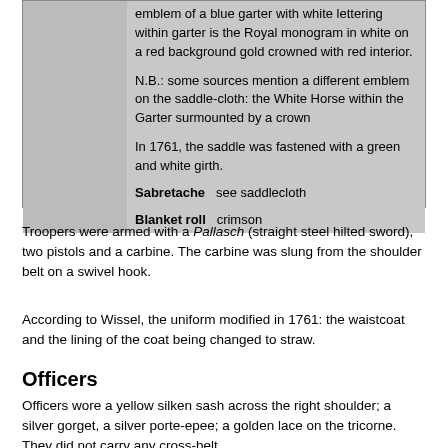| [image] | emblem of a blue garter with white lettering within garter is the Royal monogram in white on a red background gold crowned with red interior.

N.B.: some sources mention a different emblem on the saddle-cloth: the White Horse within the Garter surmounted by a crown

In 1761, the saddle was fastened with a green and white girth. |
| Sabretache | see saddlecloth |
| Blanket roll | crimson |
Troopers were armed with a Pallasch (straight steel hilted sword), two pistols and a carbine. The carbine was slung from the shoulder belt on a swivel hook.
According to Wissel, the uniform modified in 1761: the waistcoat and the lining of the coat being changed to straw.
Officers
Officers wore a yellow silken sash across the right shoulder; a silver gorget, a silver porte-epee; a golden lace on the tricorne. They did not carry any cross-belt.